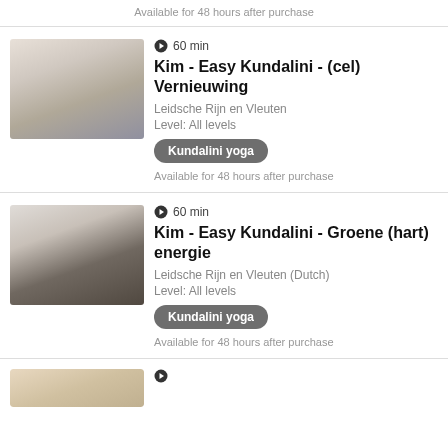Available for 48 hours after purchase
[Figure (photo): Person in white top practicing Kundalini yoga pose with arms raised]
60 min
Kim - Easy Kundalini - (cel) Vernieuwing
Leidsche Rijn en Vleuten
Level: All levels
Kundalini yoga
Available for 48 hours after purchase
[Figure (photo): Person in seated yoga pose with legs spread practicing Kundalini yoga]
60 min
Kim - Easy Kundalini - Groene (hart) energie
Leidsche Rijn en Vleuten (Dutch)
Level: All levels
Kundalini yoga
Available for 48 hours after purchase
[Figure (photo): Partial view of another yoga listing at bottom of page]